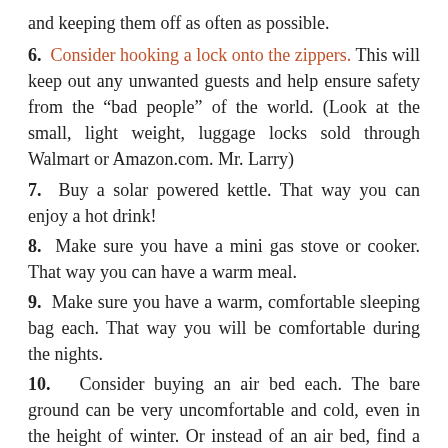and keeping them off as often as possible.
6. Consider hooking a lock onto the zippers. This will keep out any unwanted guests and help ensure safety from the “bad people” of the world. (Look at the small, light weight, luggage locks sold through Walmart or Amazon.com. Mr. Larry)
7. Buy a solar powered kettle. That way you can enjoy a hot drink!
8. Make sure you have a mini gas stove or cooker. That way you can have a warm meal.
9. Make sure you have a warm, comfortable sleeping bag each. That way you will be comfortable during the nights.
10. Consider buying an air bed each. The bare ground can be very uncomfortable and cold, even in the height of winter. Or instead of an air bed, find a thick fold up air mattress, there are tri fold ones that are about 3” thick,